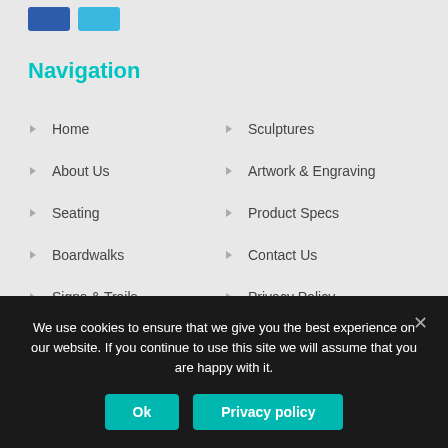[Figure (other): Two colored buttons side by side — a dark blue square and a cyan/light blue square, representing UI navigation buttons in a website header.]
Navigation
Home
Sculptures
About Us
Artwork & Engraving
Seating
Product Specs
Boardwalks
Contact Us
Signs & Trails
Privacy Policy
We use cookies to ensure that we give you the best experience on our website. If you continue to use this site we will assume that you are happy with it.
Ok   Privacy policy